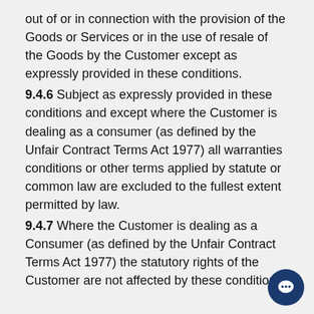out of or in connection with the provision of the Goods or Services or in the use of resale of the Goods by the Customer except as expressly provided in these conditions.
9.4.6 Subject as expressly provided in these conditions and except where the Customer is dealing as a consumer (as defined by the Unfair Contract Terms Act 1977) all warranties conditions or other terms applied by statute or common law are excluded to the fullest extent permitted by law.
9.4.7 Where the Customer is dealing as a Consumer (as defined by the Unfair Contract Terms Act 1977) the statutory rights of the Customer are not affected by these conditions.
10 LIMITATION OF LIABILITY
10.1 The limit of the Company's liability hereunder for any breach of the terms of these conditions whether as damages or otherwise shall be the Contract price of the Goods and Services or where the Goods are supplied instalments for the Contract price in relation to the